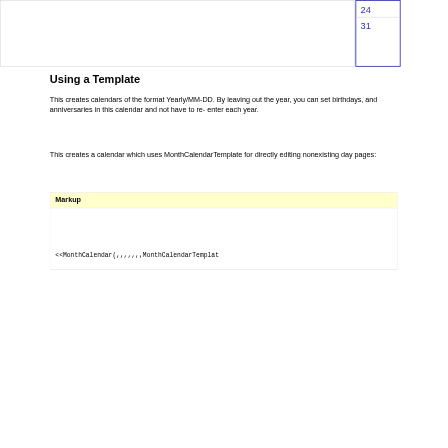|  | 24 |
|  | 31 |
Using a Template
This creates calendars of the format Yearly/MM-DD. By leaving out the year, you can set birthdays, and anniversaries in this calendar and not have to re-enter each year.
This creates a calendar which uses MonthCalendarTemplate for directly editing nonexisting day pages:
| Markup |
| --- |
| <<MonthCalendar(,,,,,,,MonthCalendarTemplat |